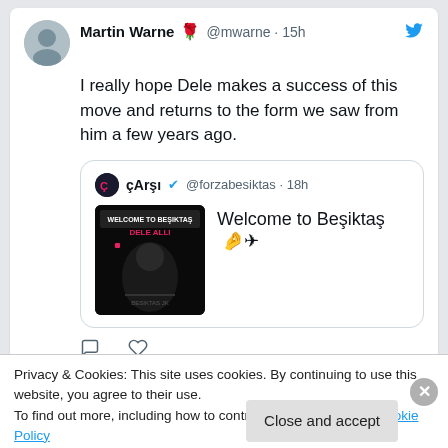[Figure (screenshot): Twitter/social media screenshot showing two tweets by Martin Warne (@mwarne) and a cookie consent banner overlay]
Martin Warne 🌹 @mwarne · 15h
I really hope Dele makes a success of this move and returns to the form we saw from him a few years ago.
çArşı ✓ @forzabesiktas · 18h
Welcome to Beşiktaş 🤌✈
Martin Warne 🌹 @mwarne · 18h
Privacy & Cookies: This site uses cookies. By continuing to use this website, you agree to their use.
To find out more, including how to control cookies, see here: Cookie Policy